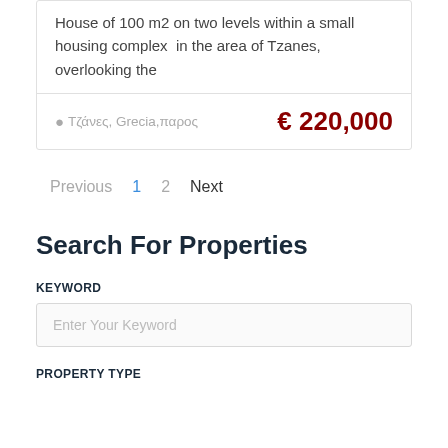House of 100 m2 on two levels within a small housing complex in the area of Tzanes, overlooking the
Τζάνες, Grecia,παρος   € 220,000
Previous  1  2  Next
Search For Properties
KEYWORD
Enter Your Keyword
PROPERTY TYPE